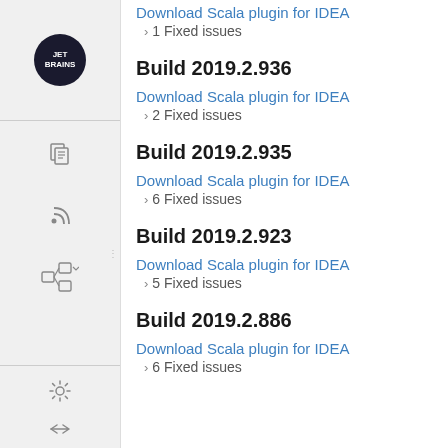Download Scala plugin for IDEA
› 1 Fixed issues
Build 2019.2.936
Download Scala plugin for IDEA
› 2 Fixed issues
Build 2019.2.935
Download Scala plugin for IDEA
› 6 Fixed issues
Build 2019.2.923
Download Scala plugin for IDEA
› 5 Fixed issues
Build 2019.2.886
Download Scala plugin for IDEA
› 6 Fixed issues